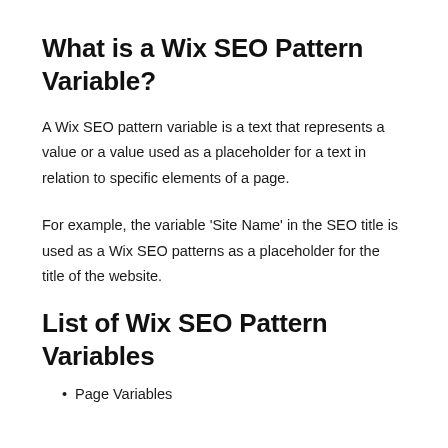What is a Wix SEO Pattern Variable?
A Wix SEO pattern variable is a text that represents a value or a value used as a placeholder for a text in relation to specific elements of a page.
For example, the variable 'Site Name' in the SEO title is used as a Wix SEO patterns as a placeholder for the title of the website.
List of Wix SEO Pattern Variables
Page Variables